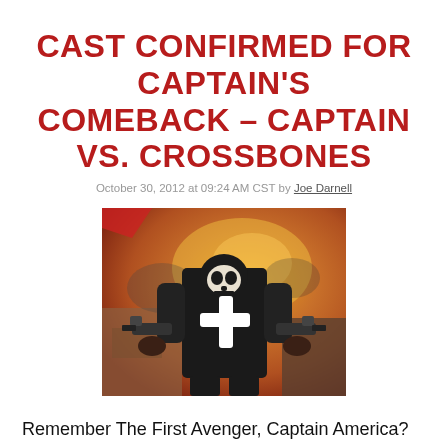Cast Confirmed for Captain's Comeback – Captain vs. Crossbones
October 30, 2012 at 09:24 AM CST by Joe Darnell
[Figure (illustration): Comic book illustration of Crossbones character in black tactical gear with white cross emblem, holding guns, against an explosive colorful background]
Remember The First Avenger, Captain America? He's most notable as a lead character of this past summer's The Avengers, but before that, he was the star-spangled-waving